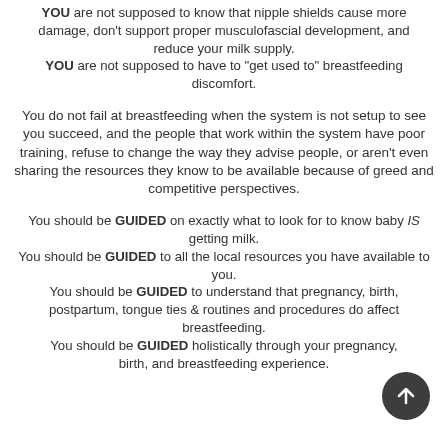YOU are not supposed to know that nipple shields cause more damage, don't support proper musculofascial development, and reduce your milk supply. YOU are not supposed to have to "get used to" breastfeeding discomfort.
You do not fail at breastfeeding when the system is not setup to see you succeed, and the people that work within the system have poor training, refuse to change the way they advise people, or aren't even sharing the resources they know to be available because of greed and competitive perspectives.
You should be GUIDED on exactly what to look for to know baby IS getting milk. You should be GUIDED to all the local resources you have available to you. You should be GUIDED to understand that pregnancy, birth, postpartum, tongue ties & routines and procedures do affect breastfeeding. You should be GUIDED holistically through your pregnancy, birth, and breastfeeding experience.